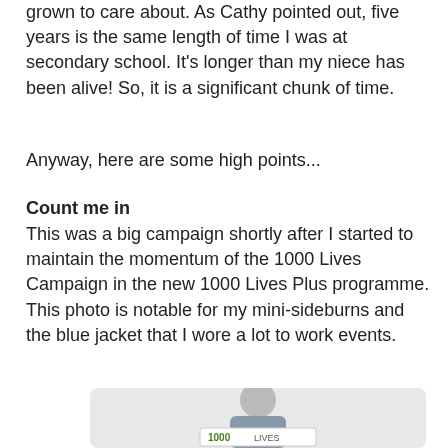grown to care about. As Cathy pointed out, five years is the same length of time I was at secondary school. It's longer than my niece has been alive! So, it is a significant chunk of time.
Anyway, here are some high points...
Count me in
This was a big campaign shortly after I started to maintain the momentum of the 1000 Lives Campaign in the new 1000 Lives Plus programme. This photo is notable for my mini-sideburns and the blue jacket that I wore a lot to work events.
[Figure (photo): A man in a dark suit and striped tie holding a sign that reads '1000 LIVES' with green and red text, smiling at the camera.]